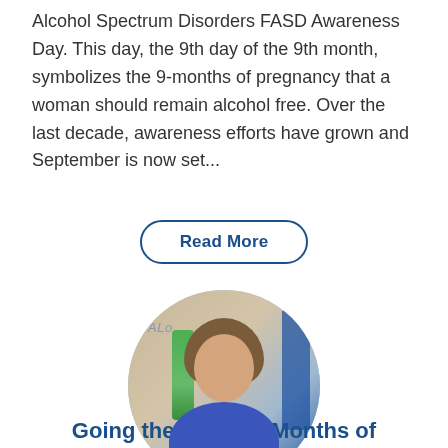Alcohol Spectrum Disorders FASD Awareness Day. This day, the 9th day of the 9th month, symbolizes the 9-months of pregnancy that a woman should remain alcohol free. Over the last decade, awareness efforts have grown and September is now set...
Read More
[Figure (photo): Circular portrait photo of a woman with shoulder-length brown hair, smiling, wearing a blue jacket. Background shows a blurred sign with partial text and green and blue elements.]
Going the Whole 9 Months of